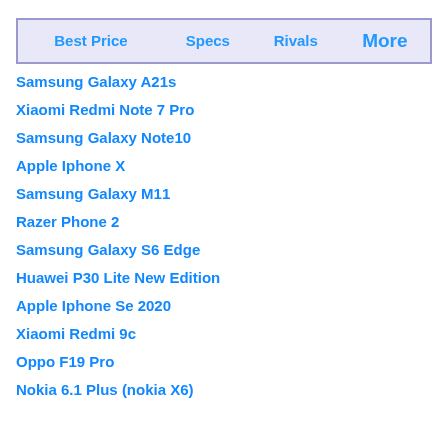| Best Price | Specs | Rivals | More |
| --- | --- | --- | --- |
Samsung Galaxy A21s
Xiaomi Redmi Note 7 Pro
Samsung Galaxy Note10
Apple Iphone X
Samsung Galaxy M11
Razer Phone 2
Samsung Galaxy S6 Edge
Huawei P30 Lite New Edition
Apple Iphone Se 2020
Xiaomi Redmi 9c
Oppo F19 Pro
Nokia 6.1 Plus (nokia X6)